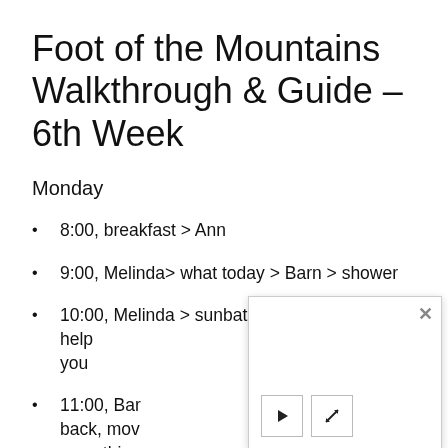Foot of the Mountains Walkthrough & Guide – 6th Week
Monday
8:00, breakfast > Ann
9:00, Melinda> what today > Barn > shower
10:00, Melinda > sunbathing > lotion and also help you
11:00, Bar[...] back, mov[...] something[...] no need
12:00, Ann > sunbathe > closer look > you > do it >